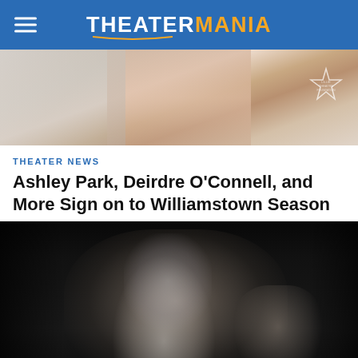THEATERMANIA
[Figure (photo): Top portion of a person, likely a woman wearing a white/marble patterned outfit with a diamond necklace, at what appears to be a theater event. A star-shaped logo/badge is visible in the upper right corner.]
THEATER NEWS
Ashley Park, Deirdre O'Connell, and More Sign on to Williamstown Season
[Figure (photo): A dramatic theatrical performance photo showing two performers in an intense physical scene — one person appears to be carrying or lifting another in an emotional pose, with a third performer visible in the background on the right side. The scene is lit against a dark black background.]